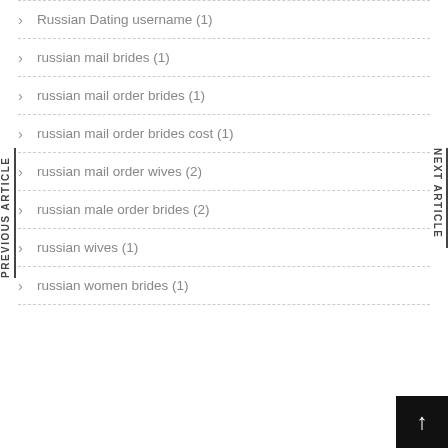Russian Dating username (1)
russian mail brides (1)
russian mail order brides (1)
russian mail order brides cost (1)
russian mail order wives (2)
russian male order brides (2)
russian wives (1)
russian women brides (1)